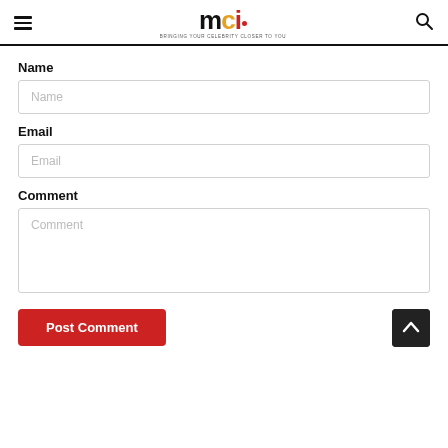mci — BRINGING YOUR CELEBRITY CLOSER TO YOU
Name
Name (input field placeholder)
Email
Email (input field placeholder)
Comment
Comment (textarea placeholder)
Post Comment